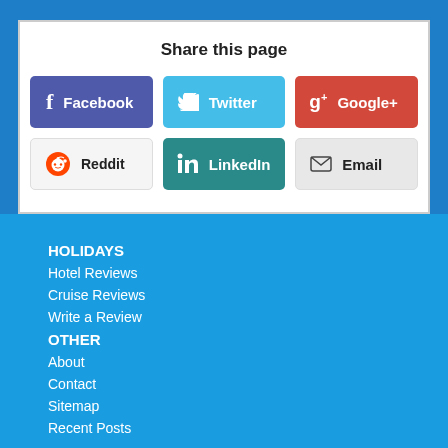Share this page
[Figure (screenshot): Social share buttons: Facebook, Twitter, Google+, Reddit, LinkedIn, Email]
HOLIDAYS
Hotel Reviews
Cruise Reviews
Write a Review
OTHER
About
Contact
Sitemap
Recent Posts